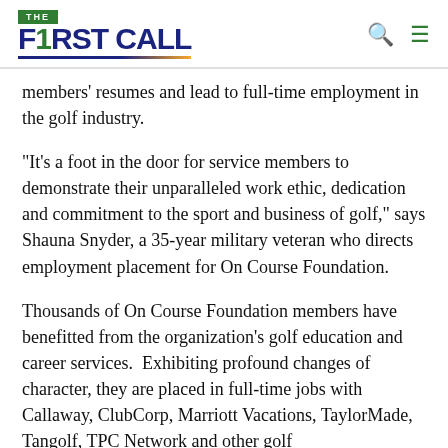THE FIRST CALL
members' resumes and lead to full-time employment in the golf industry.
“It's a foot in the door for service members to demonstrate their unparalleled work ethic, dedication and commitment to the sport and business of golf,” says Shauna Snyder, a 35-year military veteran who directs employment placement for On Course Foundation.
Thousands of On Course Foundation members have benefitted from the organization’s golf education and career services.  Exhibiting profound changes of character, they are placed in full-time jobs with Callaway, ClubCorp, Marriott Vacations, TaylorMade, Tangolf, TPC Network and other golf